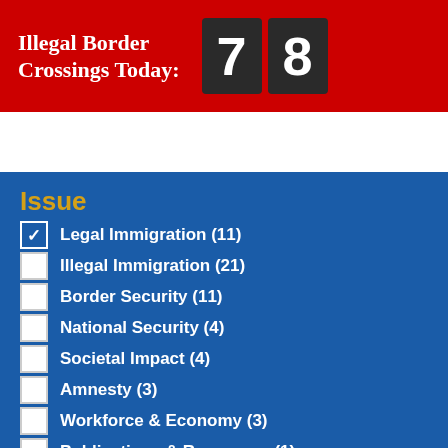Illegal Border Crossings Today: 78
Issue
Legal Immigration (11)
Illegal Immigration (21)
Border Security (11)
National Security (4)
Societal Impact (4)
Amnesty (3)
Workforce & Economy (3)
Publications & Resources (1)
Author